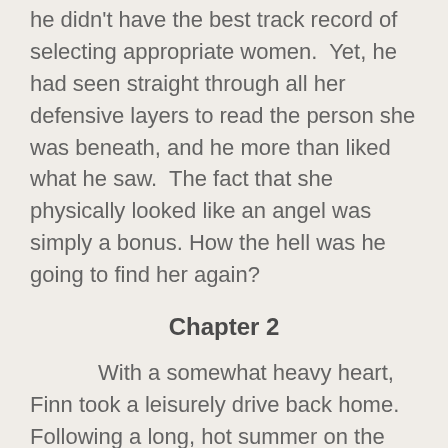he didn't have the best track record of selecting appropriate women.  Yet, he had seen straight through all her defensive layers to read the person she was beneath, and he more than liked what he saw.  The fact that she physically looked like an angel was simply a bonus. How the hell was he going to find her again?
Chapter 2
With a somewhat heavy heart, Finn took a leisurely drive back home.  Following a long, hot summer on the continent, he had returned to England just as Autumn was starting to take a firm hold.  Late September was capable of delivering